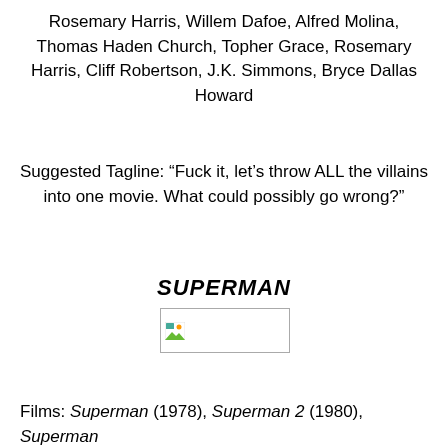Rosemary Harris, Willem Dafoe, Alfred Molina, Thomas Haden Church, Topher Grace, Rosemary Harris, Cliff Robertson, J.K. Simmons, Bryce Dallas Howard
Suggested Tagline: “Fuck it, let’s throw ALL the villains into one movie. What could possibly go wrong?”
SUPERMAN
[Figure (photo): A broken/missing image placeholder icon]
Films: Superman (1978), Superman 2 (1980), Superman 3 (1983), Superman 4: The Quest for Peace (1987)